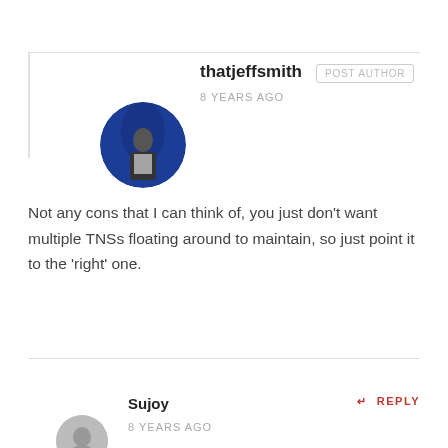thatjeffsmith POST AUTHOR
8 YEARS AGO
[Figure (photo): Circular avatar photo of thatjeffsmith, person standing in front of blue background]
Not any cons that I can think of, you just don't want multiple TNSs floating around to maintain, so just point it to the ‘right’ one.
Sujoy
8 YEARS AGO
REPLY